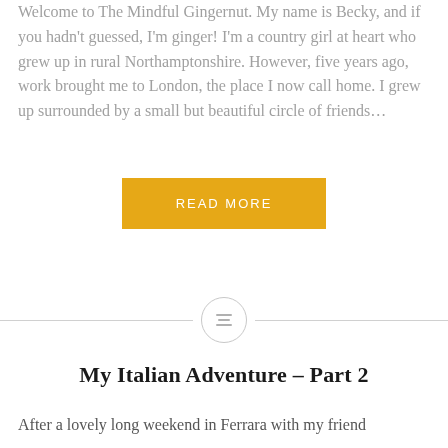Welcome to The Mindful Gingernut. My name is Becky, and if you hadn't guessed, I'm ginger! I'm a country girl at heart who grew up in rural Northamptonshire. However, five years ago, work brought me to London, the place I now call home. I grew up surrounded by a small but beautiful circle of friends…
[Figure (other): Orange/gold 'READ MORE' button centered on the page]
[Figure (other): Horizontal divider line with a circle icon containing three horizontal lines (hamburger/list icon) centered on it]
My Italian Adventure – Part 2
After a lovely long weekend in Ferrara with my friend